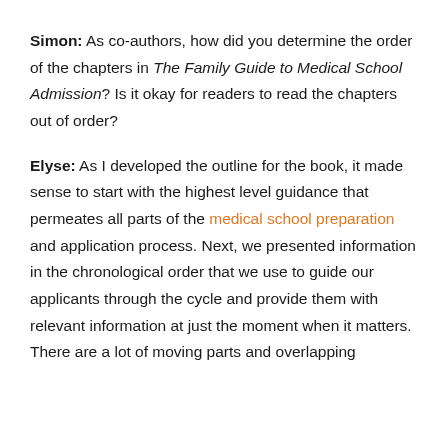Simon: As co-authors, how did you determine the order of the chapters in The Family Guide to Medical School Admission? Is it okay for readers to read the chapters out of order?
Elyse: As I developed the outline for the book, it made sense to start with the highest level guidance that permeates all parts of the medical school preparation and application process. Next, we presented information in the chronological order that we use to guide our applicants through the cycle and provide them with relevant information at just the moment when it matters. There are a lot of moving parts and overlapping...